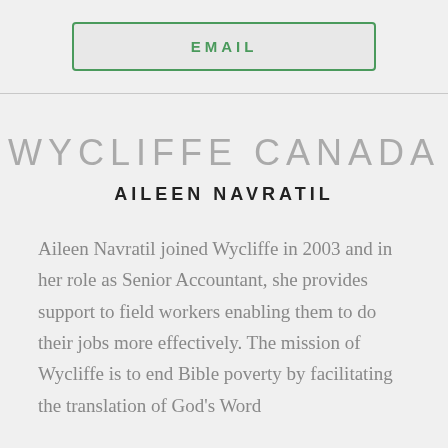[Figure (other): EMAIL button with green border on grey background]
WYCLIFFE CANADA
AILEEN NAVRATIL
Aileen Navratil joined Wycliffe in 2003 and in her role as Senior Accountant, she provides support to field workers enabling them to do their jobs more effectively. The mission of Wycliffe is to end Bible poverty by facilitating the translation of God's Word